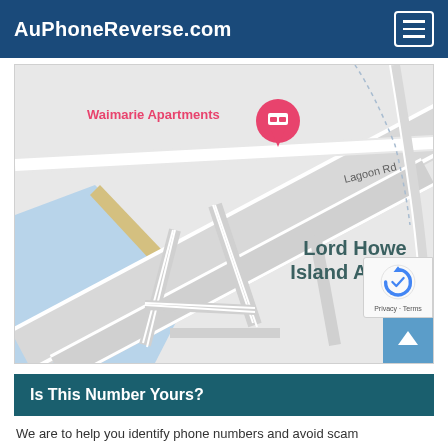AuPhoneReverse.com
[Figure (map): Google Maps screenshot showing Lord Howe Island Airport area. A pink location pin labeled 'Waimarie Apartments' is visible in the upper portion. Road labels include 'Lagoon Rd'. The airport runways are shown diagonally across the map. Blue water area visible on the lower left. Partial label 'Bl' visible on bottom right.]
Is This Number Yours?
We are to help you identify phone numbers and avoid scam